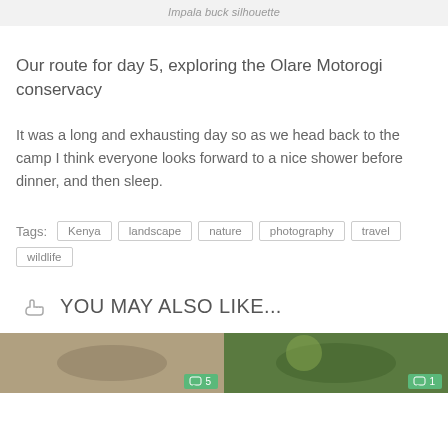Impala buck silhouette
Our route for day 5, exploring the Olare Motorogi conservacy
It was a long and exhausting day so as we head back to the camp I think everyone looks forward to a nice shower before dinner, and then sleep.
Tags: Kenya  landscape  nature  photography  travel  wildlife
YOU MAY ALSO LIKE...
[Figure (photo): Two thumbnail images for related blog posts]
[Figure (photo): Comment badge showing 5 comments]
[Figure (photo): Comment badge showing 1 comment]